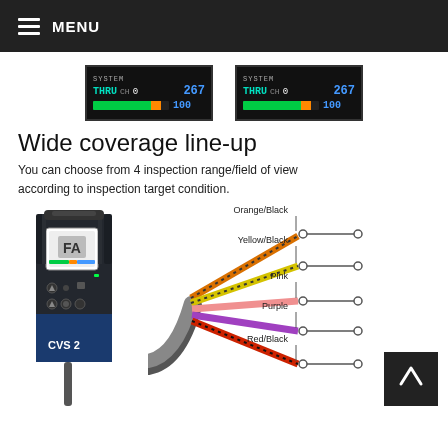MENU
[Figure (screenshot): Two identical device display screens showing SYSTEM THRU CH 0 267 with a green/orange bar and value 100]
Wide coverage line-up
You can choose from 4 inspection range/field of view according to inspection target condition.
[Figure (photo): CVS 2 inspection device (black/blue rectangular camera unit with display and buttons) alongside a wiring diagram showing color-coded wires: Orange/Black, Yellow/Black, Pink, Purple, Red/Black with connector terminals]